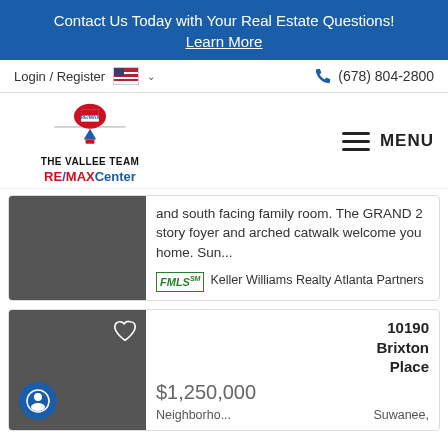Contact Us Today with Your Real Estate Questions! Learn More
Login / Register  (678) 804-2800
[Figure (logo): The Vallee Team RE/MAX Center logo with hot air balloon]
MENU
and south facing family room. The GRAND 2 story foyer and arched catwalk welcome you home. Sun...
FMLS  Keller Williams Realty Atlanta Partners
$1,250,000  10190 Brixton Place  Neighborho...  Suwanee,